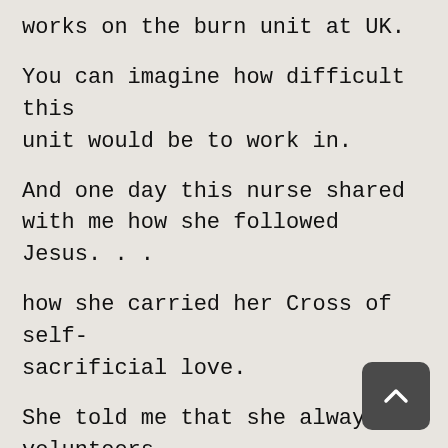works on the burn unit at UK.
You can imagine how difficult this unit would be to work in.
And one day this nurse shared with me how she followed Jesus. . .
how she carried her Cross of self-sacrificial love.
She told me that she always volunteers to take the patient that no other nurse wants.
Take the patient who is the sickest. . .